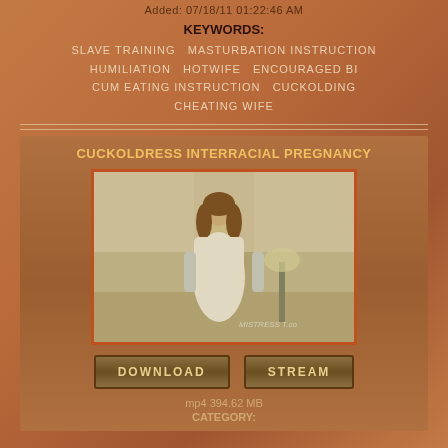Added: 07/18/11 01:22:46 AM
KEYWORDS:
SLAVE TRAINING   MASTURBATION INSTRUCTION   HUMILIATION   HOTWIFE   ENCOURAGED BI   CUM EATING INSTRUCTION   CUCKOLDING   CHEATING WIFE
CUCKOLDRESS INTERRACIAL PREGNANCY
[Figure (photo): Woman in white dress and long gloves standing in a room]
DOWNLOAD
STREAM
mp4 394.62 MB
CATEGORY: